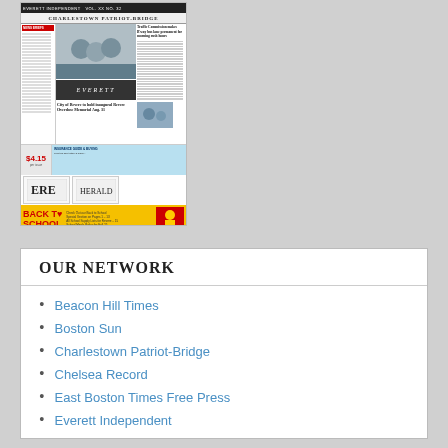[Figure (screenshot): Thumbnail image of a newspaper front page (appears to be the Everett Independent or similar local Boston-area newspaper). Shows a masthead, photos, headlines including 'Traffic Commission makes B'way bus lane permanent for morning rush hours' and 'City of Revere to hold inaugural Revere Overdose Memorial Aug. 31', advertisement for insurance, ERK logo, and a 'Back to School' banner advertisement in yellow.]
OUR NETWORK
Beacon Hill Times
Boston Sun
Charlestown Patriot-Bridge
Chelsea Record
East Boston Times Free Press
Everett Independent